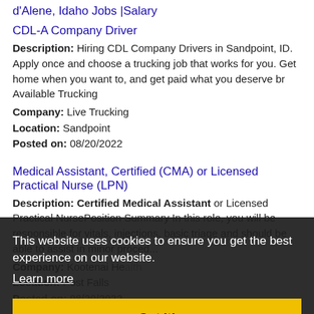d'Alene, Idaho Jobs |Salary
CDL-A Company Driver
Description: Hiring CDL Company Drivers in Sandpoint, ID. Apply once and choose a trucking job that works for you. Get home when you want to, and get paid what you deserve br Available Trucking
Company: Live Trucking
Location: Sandpoint
Posted on: 08/20/2022
Medical Assistant, Certified (CMA) or Licensed Practical Nurse (LPN)
Description: Certified Medical Assistant or Licensed Practical NursePosition Summary In this role, you will be responsible for vitals, injections, basic triage and should be able to assist in minor proced...
Company: Kootenai Health
Location: Post Falls
Posted on: 08/20/2022
Certified Nursing Assistant - Residential Care *0.0 FTE, Variable*
Description: Description Apply Today Applicants that meet
This website uses cookies to ensure you get the best experience on our website.
Learn more
Got it!